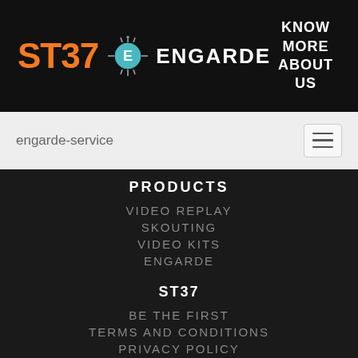ST37 ENGARDE — KNOW MORE ABOUT US
engarde-service
PRODUCTS
VIDEO REPLAY
SKOUTING
VIDEO KITS
ENGARDE
ST37
BE THE FIRST
TERMS AND CONDITIONS
PRIVACY POLICY
[Figure (illustration): Social media icons: Instagram, Facebook, Twitter, LinkedIn, YouTube — circular outlined icons on dark background]